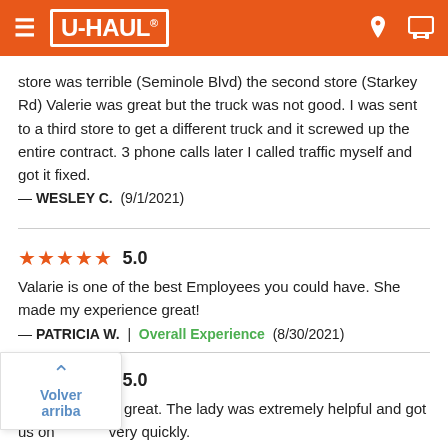U-HAUL
store was terrible (Seminole Blvd) the second store (Starkey Rd) Valerie was great but the truck was not good. I was sent to a third store to get a different truck and it screwed up the entire contract. 3 phone calls later I called traffic myself and got it fixed.
— WESLEY C.  (9/1/2021)
5.0
Valarie is one of the best Employees you could have. She made my experience great!
— PATRICIA W.  |  Overall Experience  (8/30/2021)
5.0
Everything was great. The lady was extremely helpful and got us on [our way] very quickly.
[— ...] (8/15/2021)